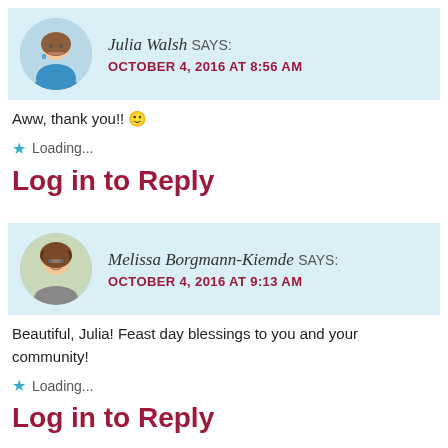[Figure (photo): Comment header with avatar photo of Julia Walsh (woman in blue) and metadata]
Aww, thank you!! 🙂
★ Loading...
Log in to Reply
[Figure (photo): Comment header with avatar photo of Melissa Borgmann-Kiemde (woman with curly hair and glasses) and metadata]
Beautiful, Julia! Feast day blessings to you and your community!
★ Loading...
Log in to Reply